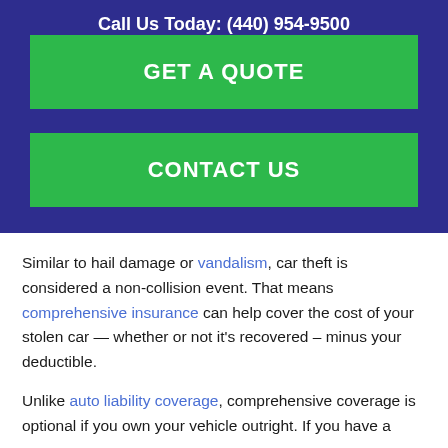Call Us Today: (440) 954-9500
GET A QUOTE
CONTACT US
Similar to hail damage or vandalism, car theft is considered a non-collision event. That means comprehensive insurance can help cover the cost of your stolen car — whether or not it's recovered – minus your deductible.
Unlike auto liability coverage, comprehensive coverage is optional if you own your vehicle outright. If you have a